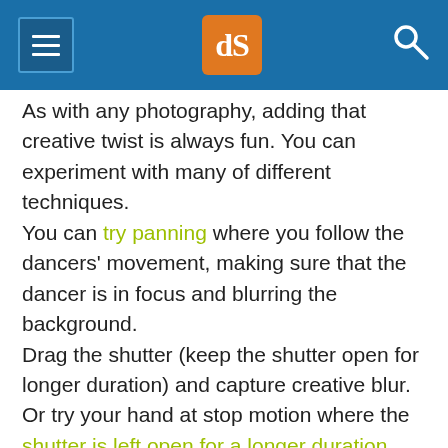dPS (digital Photography School)
As with any photography, adding that creative twist is always fun. You can experiment with many of different techniques. You can try panning where you follow the dancers' movement, making sure that the dancer is in focus and blurring the background. Drag the shutter (keep the shutter open for longer duration) and capture creative blur. Or try your hand at stop motion where the shutter is left open for a longer duration and a flash is fired at the very end to freeze the final movement.